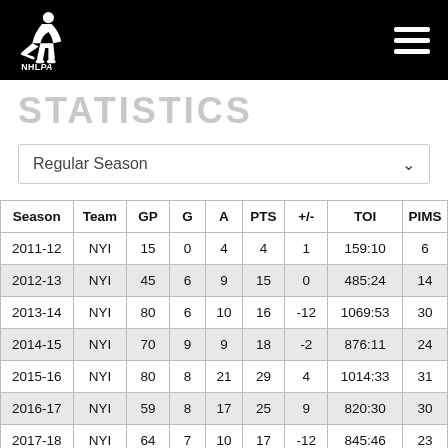NHLPA
STATISTICS
Regular Season
| Season | Team | GP | G | A | PTS | +/- | TOI | PIMS |
| --- | --- | --- | --- | --- | --- | --- | --- | --- |
| 2011-12 | NYI | 15 | 0 | 4 | 4 | 1 | 159:10 | 6 |
| 2012-13 | NYI | 45 | 6 | 9 | 15 | 0 | 485:24 | 14 |
| 2013-14 | NYI | 80 | 6 | 10 | 16 | -12 | 1069:53 | 30 |
| 2014-15 | NYI | 70 | 9 | 9 | 18 | -2 | 876:11 | 24 |
| 2015-16 | NYI | 80 | 8 | 21 | 29 | 4 | 1014:33 | 31 |
| 2016-17 | NYI | 59 | 8 | 17 | 25 | 9 | 820:30 | 30 |
| 2017-18 | NYI | 64 | 7 | 10 | 17 | -12 | 845:46 | 23 |
| 2018-19 | NYI | 73 | 20 | 13 | 33 | 22 | 1023:44 | 36 |